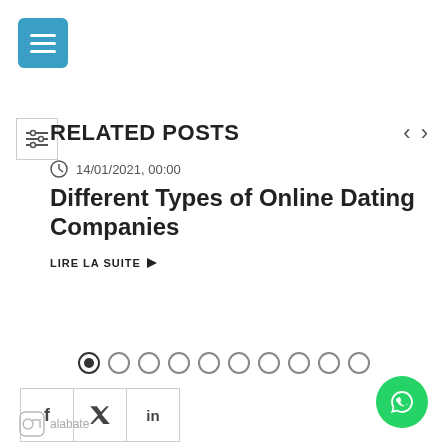[Figure (other): Blue hamburger menu button (3 horizontal lines) top left]
[Figure (other): Sliders/filter icon in a white box]
RELATED POSTS
14/01/2021, 00:00
Different Types of Online Dating Companies
LIRE LA SUITE ▶
[Figure (other): Carousel dot indicators, 10 total, first dot active]
[Figure (other): Social share buttons: Facebook (f), Twitter (bird), LinkedIn (in)]
[Figure (other): WhatsApp green circular button bottom right]
[Figure (logo): Alabate logo with icon at bottom left]